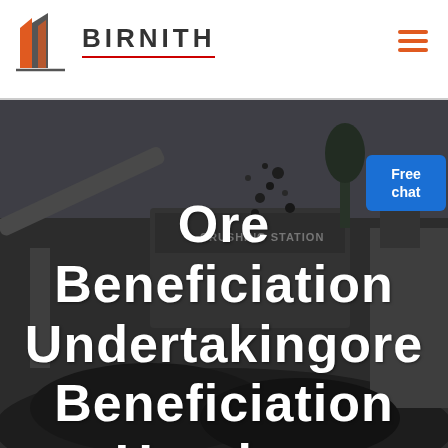[Figure (logo): BIRNITH company logo with orange/red building icon and brand name in bold letters]
[Figure (photo): Industrial ore crushing station machinery in dark/grey tones, large mining equipment visible]
Ore Beneficiation Undertakingore Beneficiation Uranium